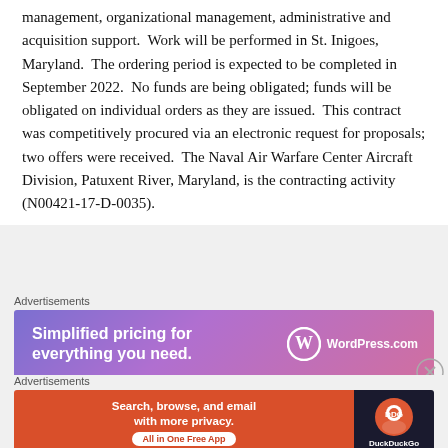management, organizational management, administrative and acquisition support. Work will be performed in St. Inigoes, Maryland. The ordering period is expected to be completed in September 2022. No funds are being obligated; funds will be obligated on individual orders as they are issued. This contract was competitively procured via an electronic request for proposals; two offers were received. The Naval Air Warfare Center Aircraft Division, Patuxent River, Maryland, is the contracting activity (N00421-17-D-0035).
[Figure (other): WordPress.com advertisement banner: 'Simplified pricing for everything you need.' with WordPress.com logo on purple-pink gradient background]
[Figure (other): DuckDuckGo advertisement banner: 'Search, browse, and email with more privacy. All in One Free App' with DuckDuckGo logo on orange and dark background]